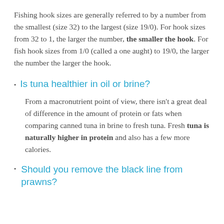Fishing hook sizes are generally referred to by a number from the smallest (size 32) to the largest (size 19/0). For hook sizes from 32 to 1, the larger the number, the smaller the hook. For fish hook sizes from 1/0 (called a one aught) to 19/0, the larger the number the larger the hook.
Is tuna healthier in oil or brine?
From a macronutrient point of view, there isn't a great deal of difference in the amount of protein or fats when comparing canned tuna in brine to fresh tuna. Fresh tuna is naturally higher in protein and also has a few more calories.
Should you remove the black line from prawns?